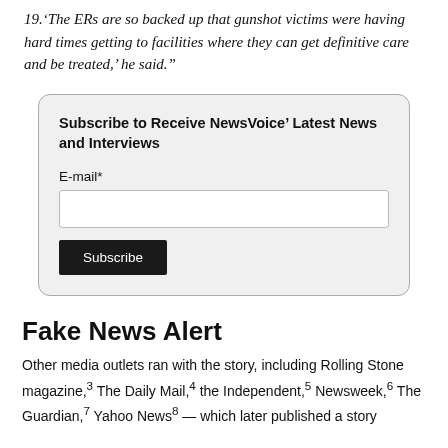19.'The ERs are so backed up that gunshot victims were having hard times getting to facilities where they can get definitive care and be treated,' he said."
Subscribe to Receive NewsVoice' Latest News and Interviews
E-mail*
[input field]
[Subscribe button]
Fake News Alert
Other media outlets ran with the story, including Rolling Stone magazine,3 The Daily Mail,4 the Independent,5 Newsweek,6 The Guardian,7 Yahoo News8 — which later published a story